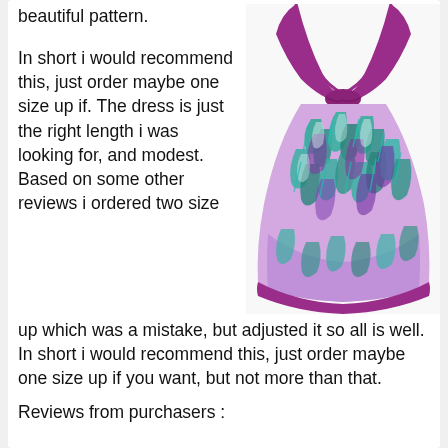beautiful pattern.
[Figure (photo): A purple halter-style swimdress with a solid magenta/purple top and a tropical leaf-patterned skirt in purple, teal, and white, with a solid purple hem band.]
In short i would recommend this, just order maybe one size up if. The dress is just the right length i was looking for, and modest. Based on some other reviews i ordered two size up which was a mistake, but adjusted it so all is well. In short i would recommend this, just order maybe one size up if you want, but not more than that.
Reviews from purchasers :